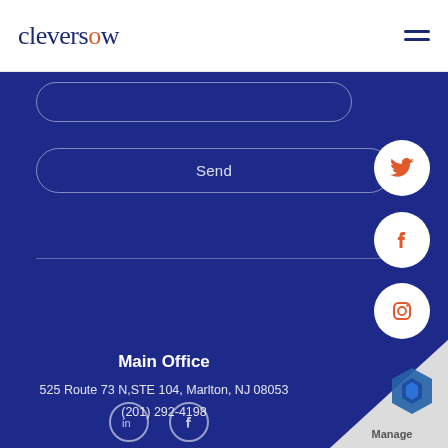cleversow
[Figure (screenshot): Web contact form section with blue background, Send button bar, social media circle buttons (Twitter, Facebook, Instagram) on the right side, Main Office address section, and a Manage badge at bottom right corner.]
Main Office
525 Route 73 N,STE 104, Marlton, NJ 08053
(201) 292-4198